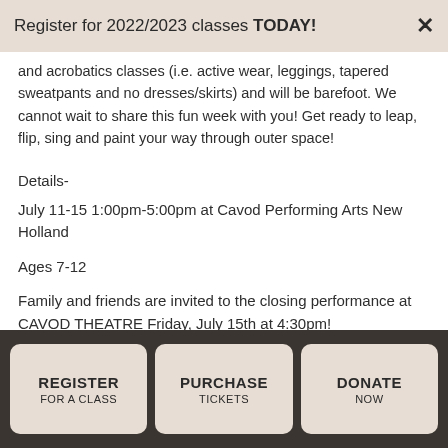Register for 2022/2023 classes TODAY!
and acrobatics classes (i.e. active wear, leggings, tapered sweatpants and no dresses/skirts) and will be barefoot. We cannot wait to share this fun week with you! Get ready to leap, flip, sing and paint your way through outer space!
Details-
July 11-15 1:00pm-5:00pm at Cavod Performing Arts New Holland
Ages 7-12
Family and friends are invited to the closing performance at CAVOD THEATRE Friday, July 15th at 4:30pm!
Camp Cost –
REGISTER FOR A CLASS | PURCHASE TICKETS | DONATE NOW